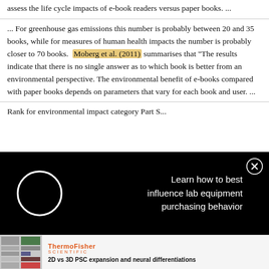assess the life cycle impacts of e-book readers versus paper books. ...
... For greenhouse gas emissions this number is probably between 20 and 35 books, while for measures of human health impacts the number is probably closer to 70 books. Moberg et al. (2011) summarises that "The results indicate that there is no single answer as to which book is better from an environmental perspective. The environmental benefit of e-books compared with paper books depends on parameters that vary for each book and user. ...
Rank for environmental impact category Part S...
[Figure (other): Black advertisement overlay with circular loading indicator and text: Learn how to best influence lab equipment purchasing behavior, with a close button]
[Figure (other): ThermoFisher Scientific advertisement banner with small scientific poster image and text: 2D vs 3D PSC expansion and neural differentiations]